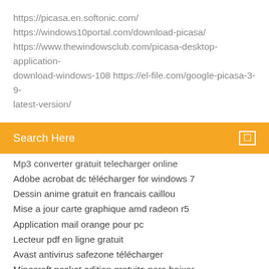https://picasa.en.softonic.com/ https://windows10portal.com/download-picasa/ https://www.thewindowsclub.com/picasa-desktop-application-download-windows-108 https://el-file.com/google-picasa-3-9-latest-version/
Search Here
Mp3 converter gratuit telecharger online
Adobe acrobat dc télécharger for windows 7
Dessin anime gratuit en francais caillou
Mise a jour carte graphique amd radeon r5
Application mail orange pour pc
Lecteur pdf en ligne gratuit
Avast antivirus safezone télécharger
Minecraft pocket edition gratuito para baixar
Telecharger adobe photoshop cc gratuit version complete
Graphics drivers for hp pavilion dv7 notebook pc
Comment faire tout les objet dans minecraft